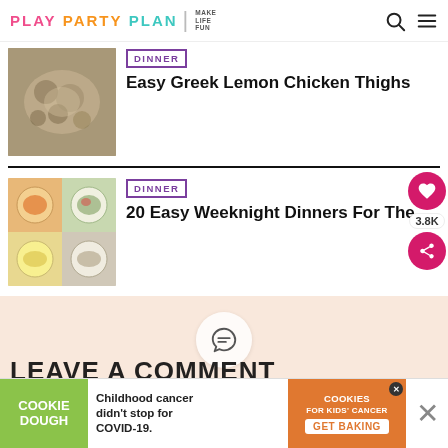PLAY PARTY PLAN | MAKE LIFE FUN
[Figure (photo): Thumbnail of Greek Lemon Chicken Thighs dish]
DINNER
Easy Greek Lemon Chicken Thighs
[Figure (photo): 4-image collage of dinner bowls and meals]
DINNER
20 Easy Weeknight Dinners For The...
[Figure (illustration): Comment bubble icon on peach/beige background]
LEAVE A COMMENT
[Figure (infographic): Cookie Dough advertisement banner - Childhood cancer didn't stop for COVID-19. Cookies for kids cancer. GET BAKING.]